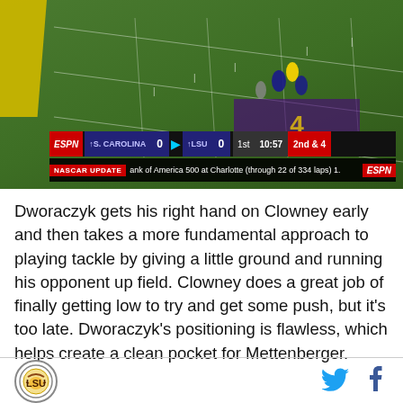[Figure (screenshot): ESPN broadcast screenshot of a college football game between S. Carolina and LSU, showing a score of 0-0 in the 1st quarter, 10:57 remaining, 2nd and 4. A NASCAR Update ticker runs at the bottom.]
Dworaczyk gets his right hand on Clowney early and then takes a more fundamental approach to playing tackle by giving a little ground and running his opponent up field. Clowney does a great job of finally getting low to try and get some push, but it's too late. Dworaczyk's positioning is flawless, which helps create a clean pocket for Mettenberger.
[Figure (logo): Site logo - circular emblem]
[Figure (logo): Twitter bird icon]
[Figure (logo): Facebook f icon]